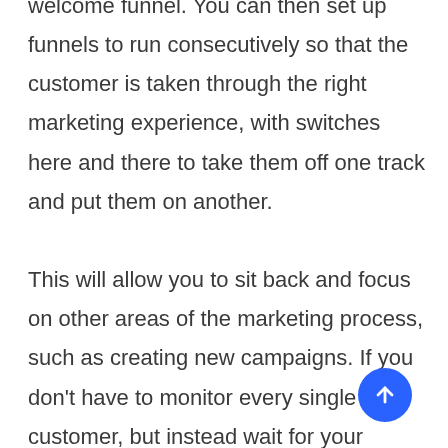welcome funnel. You can then set up funnels to run consecutively so that the customer is taken through the right marketing experience, with switches here and there to take them off one track and put them on another.

This will allow you to sit back and focus on other areas of the marketing process, such as creating new campaigns. If you don't have to monitor every single customer, but instead wait for your reports on how well your funnels are doing, you will save yourself a lot of time.